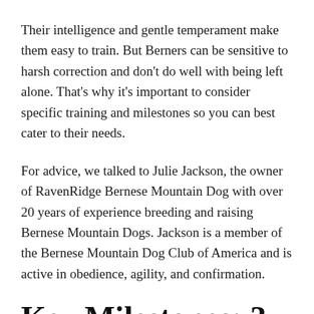Their intelligence and gentle temperament make them easy to train. But Berners can be sensitive to harsh correction and don't do well with being left alone. That's why it's important to consider specific training and milestones so you can best cater to their needs.
For advice, we talked to Julie Jackson, the owner of RavenRidge Bernese Mountain Dog with over 20 years of experience breeding and raising Bernese Mountain Dogs. Jackson is a member of the Bernese Mountain Dog Club of America and is active in obedience, agility, and confirmation.
Key Milestones: 3-12